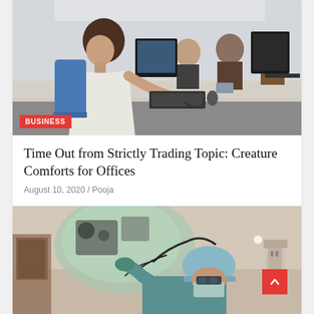[Figure (photo): Office scene with multiple employees working at computers along a shared desk in an open-plan office. A woman in a white patterned blouse is prominently in the foreground.]
BUSINESS
Time Out from Strictly Trading Topic: Creature Comforts for Offices
August 10, 2020 / Pooja
[Figure (photo): Medical professional in surgical scrubs and cap examining or operating medical equipment wrapped in sterile plastic covering in a clinical/operating room setting.]